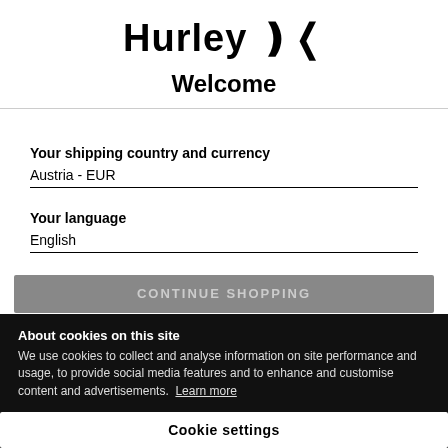[Figure (logo): Hurley brand logo with stylized parenthesis/wave symbol]
Welcome
Your shipping country and currency
Austria - EUR
Your language
English
CONTINUE SHOPPING
About cookies on this site
We use cookies to collect and analyse information on site performance and usage, to provide social media features and to enhance and customise content and advertisements. Learn more
Cookie settings